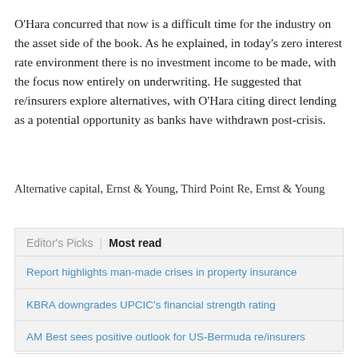O'Hara concurred that now is a difficult time for the industry on the asset side of the book. As he explained, in today's zero interest rate environment there is no investment income to be made, with the focus now entirely on underwriting. He suggested that re/insurers explore alternatives, with O'Hara citing direct lending as a potential opportunity as banks have withdrawn post-crisis.
Alternative capital, Ernst & Young, Third Point Re, Ernst & Young
Editor's Picks | Most read
Report highlights man-made crises in property insurance
KBRA downgrades UPCIC's financial strength rating
AM Best sees positive outlook for US-Bermuda re/insurers
Compre continues to build MedMal specialism